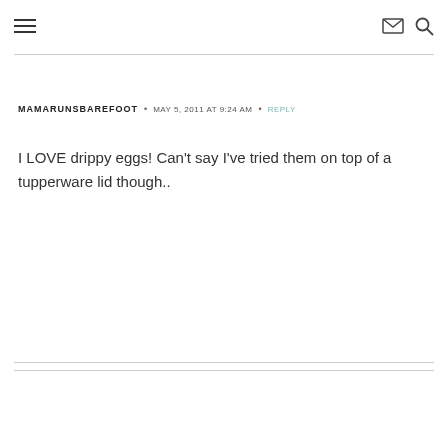☰  ✉ 🔍
MAMARUNSBAREFOOT • MAY 5, 2011 AT 9:24 AM • REPLY
I LOVE drippy eggs! Can't say I've tried them on top of a tupperware lid though..